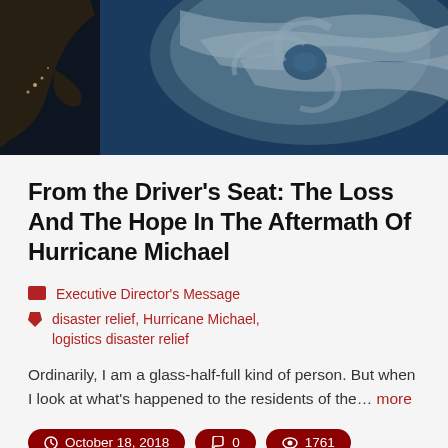[Figure (photo): Satellite aerial view of Hurricane Michael approaching the Florida coast, showing the swirling storm system from space with dark ocean and cloud patterns]
From the Driver's Seat: The Loss And The Hope In The Aftermath Of Hurricane Michael
Executive Director's Message
disaster relief, Hurricane Michael, logistics disaster relief
Ordinarily, I am a glass-half-full kind of person. But when I look at what's happened to the residents of the... more
October 18, 2018  |  0 comments  |  1761 views